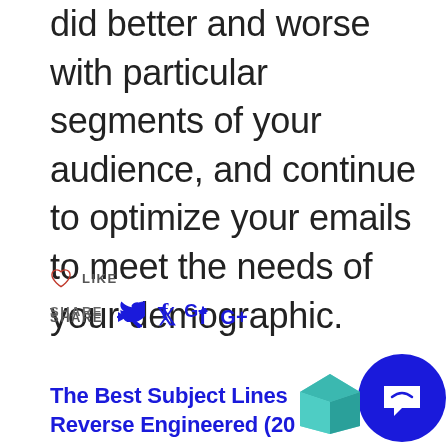did better and worse with particular segments of your audience, and continue to optimize your emails to meet the needs of your demographic.
LIKE
SHARE
The Best Subject Lines Reverse Engineered (20